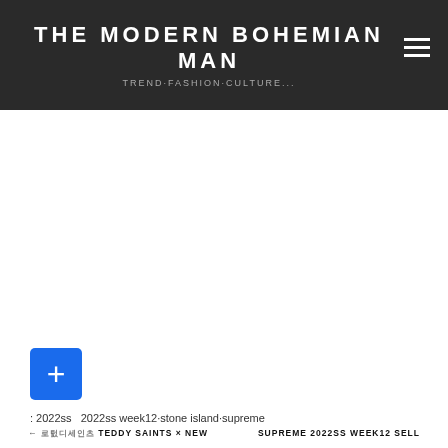THE MODERN BOHEMIAN MAN
TREND·FASHION·CULTURE...
[Figure (other): Blue square button with white plus (+) icon]
: 2022ss  2022ss week12·stone island·supreme
← 테디세인츠 TEDDY SAINTS × NEW    SUPREME 2022SS WEEK12 SELL